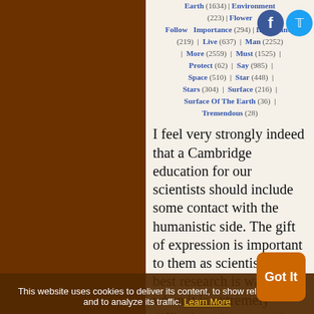Earth (1634) | Environment (223) | Flower | Follow | Importance (294) | Important (219) | Live (637) | Man (2252) | More (2559) | Must (1525) | Protect (62) | Say (985) | Space (510) | Star (448) | Stars (304) | Surface (216) | Surface Of The Earth (36) | Tremendous (28)
I feel very strongly indeed that a Cambridge education for our scientists should include some contact with the humanistic side. The gift of expression is important to them as scientists; the best research is wasted when it is extremely difficult to discover what it is all about ... It is even more
This website uses cookies to deliver its content, to show relevant ads and to analyze its traffic. Learn More